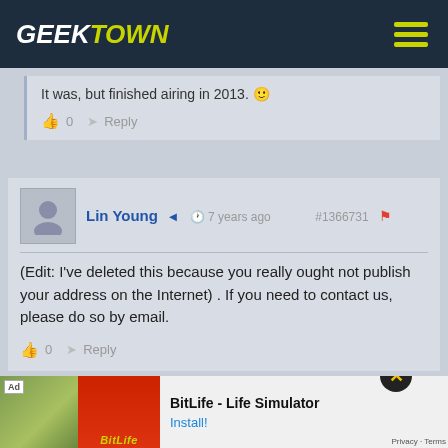[Figure (logo): GeekTown logo with hamburger menu on dark navy background]
It was, but finished airing in 2013. 🙂
👍 0  ➤ Reply
Lin Young  ◄  🕐 7 years ago  #1366731  🚩
(Edit: I've deleted this because you really ought not publish your address on the Internet) . If you need to contact us, please do so by email.
👍 0  ➤ Reply
[Figure (screenshot): BitLife - Life Simulator ad banner with install button]